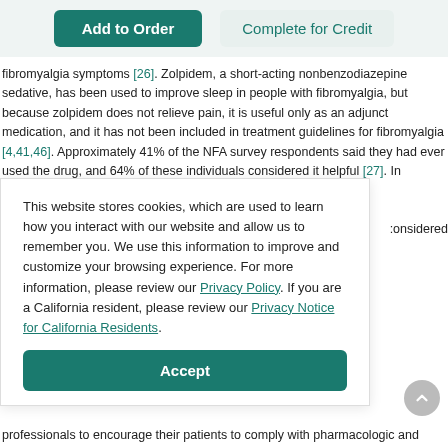[Figure (screenshot): Two buttons: 'Add to Order' (teal/filled) and 'Complete for Credit' (light teal/outlined) in a navigation bar]
fibromyalgia symptoms [26]. Zolpidem, a short-acting nonbenzodiazepine sedative, has been used to improve sleep in people with fibromyalgia, but because zolpidem does not relieve pain, it is useful only as an adjunct medication, and it has not been included in treatment guidelines for fibromyalgia [4,41,46]. Approximately 41% of the NFA survey respondents said they had ever used the drug, and 64% of these individuals considered it helpful [27]. In general,
This website stores cookies, which are used to learn how you interact with our website and allow us to remember you. We use this information to improve and customize your browsing experience. For more information, please review our Privacy Policy. If you are a California resident, please review our Privacy Notice for California Residents.
Accept
s response
professionals to encourage their patients to comply with pharmacologic and